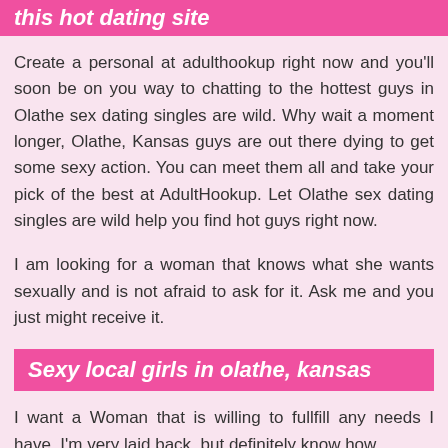this hot dating site
Create a personal at adulthookup right now and you'll soon be on you way to chatting to the hottest guys in Olathe sex dating singles are wild. Why wait a moment longer, Olathe, Kansas guys are out there dying to get some sexy action. You can meet them all and take your pick of the best at AdultHookup. Let Olathe sex dating singles are wild help you find hot guys right now.
I am looking for a woman that knows what she wants sexually and is not afraid to ask for it. Ask me and you just might receive it.
Sexy local girls in olathe, kansas
I want a Woman that is willing to fullfill any needs I have. I'm very laid back, but definitely know how